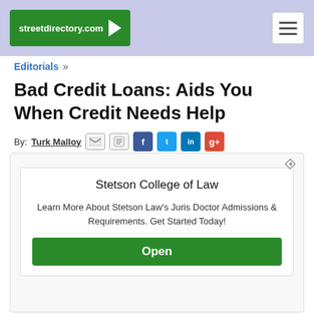streetdirectory.com
Editorials »
Bad Credit Loans: Aids You When Credit Needs Help
By: Turk Malloy
[Figure (infographic): Advertisement for Stetson College of Law. Contains heading 'Stetson College of Law', body text 'Learn More About Stetson Law's Juris Doctor Admissions & Requirements. Get Started Today!', and a green Open button.]